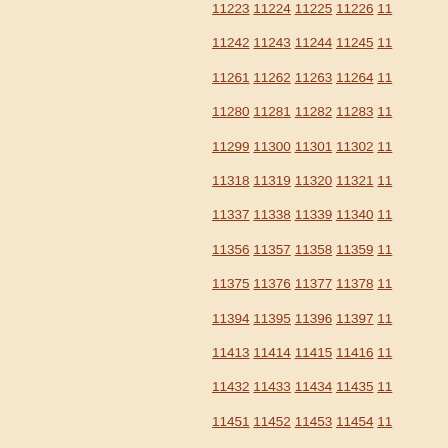11223 11224 11225 11226 11... 11242 11243 11244 11245 11... 11261 11262 11263 11264 11... 11280 11281 11282 11283 11... 11299 11300 11301 11302 11... 11318 11319 11320 11321 11... 11337 11338 11339 11340 11... 11356 11357 11358 11359 11... 11375 11376 11377 11378 11... 11394 11395 11396 11397 11... 11413 11414 11415 11416 11... 11432 11433 11434 11435 11... 11451 11452 11453 11454 11... 11470 11471 11472 11473 11... 11489 11490 11491 11492 11... 11508 11509 11510 11511 11... 11527 11528 11529 11530 11... 11546 11547 11548 11549 11... 11565 11566 11567 11568 11... 11584 11585 11586 11587 11... 11603 11604 11605 11606 11... 11622 11623 11624 11625 11... 11641 11642 11643 11644 11... 11660 11661 11662 11663 11... 11679 11680 11681 11682 11... 11698 11699 11700 11701 11... 11717 11718 11719 11720 11... 11736 11737 11738 11739 11... 11755 11756 11757 11758 11... 11774 11775 11776 11777 11... 11793 11794 11795 11796 11... 11812 11813 11814 11815 11... 11831 11832 11833 11834 11...